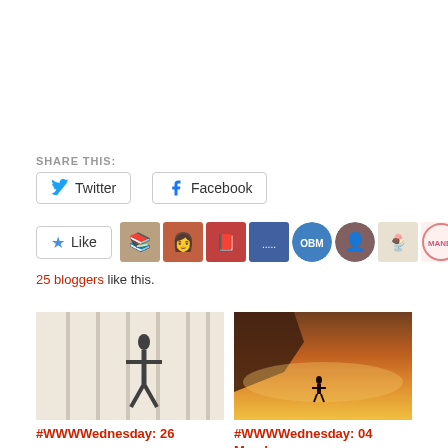SHARE THIS:
Twitter button
Facebook button
Like button with 25 blogger avatars
25 bloggers like this.
[Figure (photo): Book cover with swords and a silhouette figure]
#WWWWednesday: 26
[Figure (photo): Desert landscape with sunset and a person standing]
#WWWWednesday: 04 March